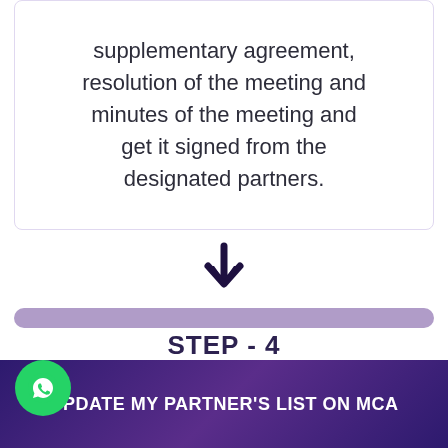supplementary agreement, resolution of the meeting and minutes of the meeting and get it signed from the designated partners.
[Figure (infographic): Down arrow icon indicating step progression]
STEP - 4
[Figure (infographic): WhatsApp chat widget with 'Questions? Let's Chat' bubble]
UPDATE MY PARTNER'S LIST ON MCA